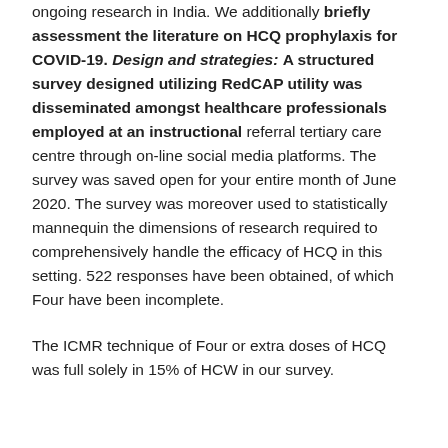ongoing research in India. We additionally briefly assessment the literature on HCQ prophylaxis for COVID-19. Design and strategies: A structured survey designed utilizing RedCAP utility was disseminated amongst healthcare professionals employed at an instructional referral tertiary care centre through on-line social media platforms. The survey was saved open for your entire month of June 2020. The survey was moreover used to statistically mannequin the dimensions of research required to comprehensively handle the efficacy of HCQ in this setting. 522 responses have been obtained, of which Four have been incomplete.
The ICMR technique of Four or extra doses of HCQ was full solely in 15% of HCW in our survey.